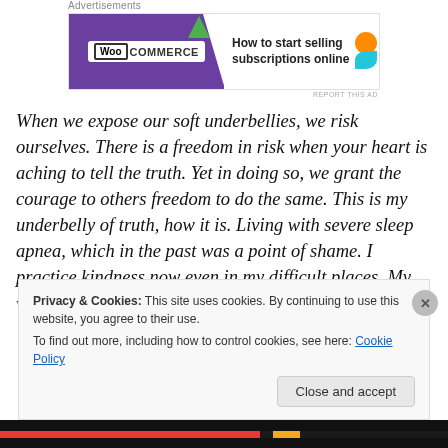Advertisements
[Figure (other): WooCommerce advertisement banner: 'How to start selling subscriptions online']
When we expose our soft underbellies, we risk ourselves. There is a freedom in risk when your heart is aching to tell the truth. Yet in doing so, we grant the courage to others freedom to do the same. This is my underbelly of truth, how it is. Living with severe sleep apnea, which in the past was a point of shame. I practice kindness now even in my difficult places. My wish for you is to do the same. ♥
Privacy & Cookies: This site uses cookies. By continuing to use this website, you agree to their use.
To find out more, including how to control cookies, see here: Cookie Policy
Close and accept